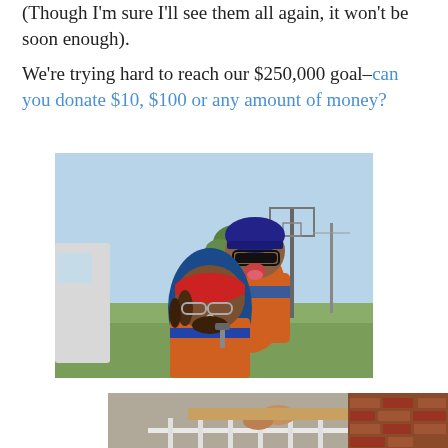(Though I'm sure I'll see them all again, it won't be soon enough).

We're trying hard to reach our $250,000 goal–can you donate $10, $100 or any amount of money?
[Figure (photo): Two people posing for a selfie outdoors. The person in the foreground wears a red bandana and glasses with a nose ring. The person behind wears a cycling helmet and sunglasses and has their tongue out. They are in cycling gear. A basketball hoop and trees are visible in the background.]
[Figure (photo): Partial photo showing a person's hands working on what appears to be construction or repair work near a brick wall, partially cropped at the bottom of the page.]